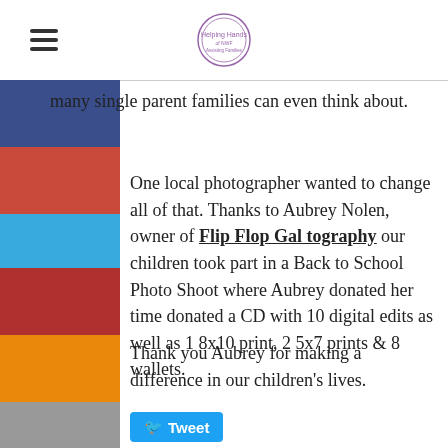Navigation header with hamburger menu and organization logo
many single parent families can even think about.
One local photographer wanted to change all of that. Thanks to Aubrey Nolen, owner of Flip Flop Gal tography our children took part in a Back to School Photo Shoot where Aubrey donated her time donated a CD with 10 digital edits as well as 1 8x10 print, 2 5x7 prints & 8 wallets.
Thank you Aubrey for making a difference in our children's lives.